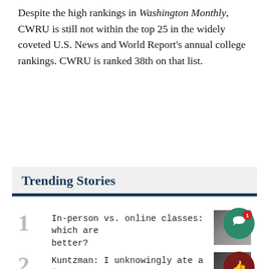Despite the high rankings in Washington Monthly, CWRU is still not within the top 25 in the widely coveted U.S. News and World Report's annual college rankings. CWRU is ranked 38th on that list.
Trending Stories
1 In-person vs. online classes: which are better?
2 Kuntzman: I unknowingly ate a $15,000 Oreo